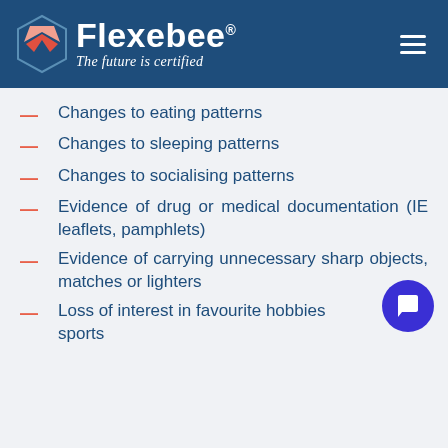[Figure (logo): Flexebee logo with tagline 'The future is certified' on dark blue header background]
Changes to eating patterns
Changes to sleeping patterns
Changes to socialising patterns
Evidence of drug or medical documentation (IE leaflets, pamphlets)
Evidence of carrying unnecessary sharp objects, matches or lighters
Loss of interest in favourite hobbies sports